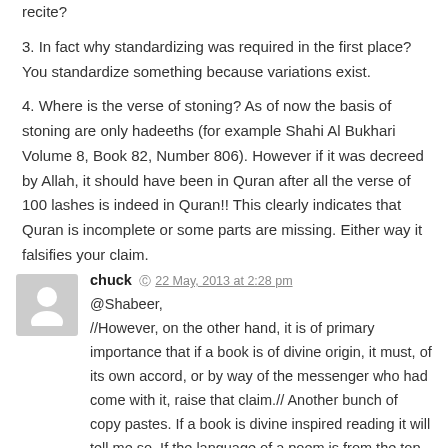recite?
3. In fact why standardizing was required in the first place? You standardize something because variations exist.
4. Where is the verse of stoning? As of now the basis of stoning are only hadeeths (for example Shahi Al Bukhari Volume 8, Book 82, Number 806). However if it was decreed by Allah, it should have been in Quran after all the verse of 100 lashes is indeed in Quran!! This clearly indicates that Quran is incomplete or some parts are missing. Either way it falsifies your claim.
chuck  22 May, 2013 at 2:28 pm
@Shabeer, //However, on the other hand, it is of primary importance that if a book is of divine origin, it must, of its own accord, or by way of the messenger who had come with it, raise that claim.// Another bunch of copy pastes. If a book is divine inspired reading it will tell me so. If the language of a poem is from the top draw, reading it will tell me so. In other words the book or